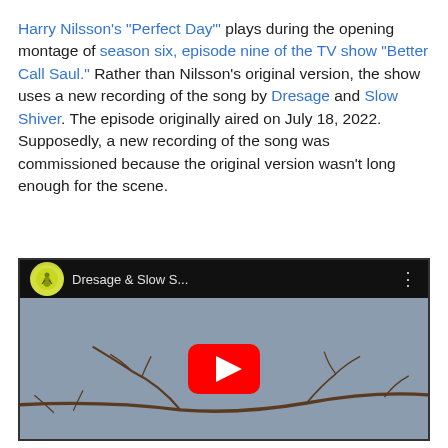Harry Nilsson's "Perfect Day"' plays during the opening montage of season six, episode nine of the TV show "Better Call Saul." Rather than Nilsson's original version, the show uses a new recording of the song by Dresage and Slow Shiver. The episode originally aired on July 18, 2022. Supposedly, a new recording of the song was commissioned because the original version wasn't long enough for the scene.
[Figure (screenshot): Embedded YouTube video thumbnail showing 'Dresage & Slow S...' with a YouTube play button over a blueish-grey background with twigs/branches in the foreground.]